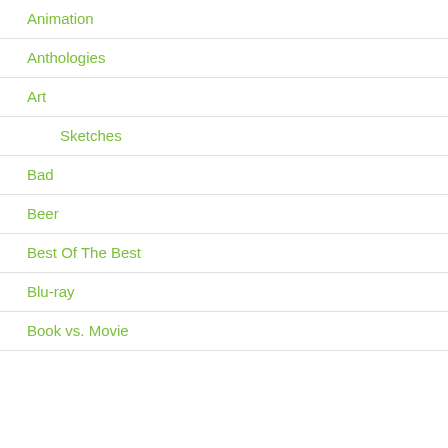Animation
Anthologies
Art
Sketches
Bad
Beer
Best Of The Best
Blu-ray
Book vs. Movie